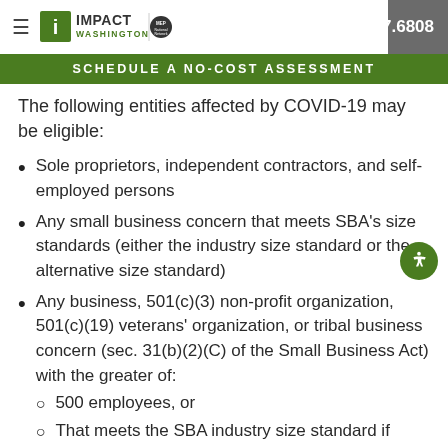Impact Washington | MEP National Network | 425.287.6808
SCHEDULE A NO-COST ASSESSMENT
The following entities affected by COVID-19 may be eligible:
Sole proprietors, independent contractors, and self-employed persons
Any small business concern that meets SBA's size standards (either the industry size standard or the alternative size standard)
Any business, 501(c)(3) non-profit organization, 501(c)(19) veterans' organization, or tribal business concern (sec. 31(b)(2)(C) of the Small Business Act) with the greater of:
500 employees, or
That meets the SBA industry size standard if